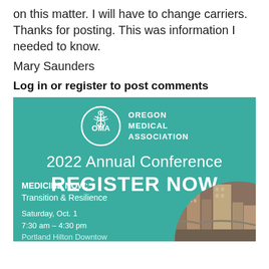on this matter. I will have to change carriers. Thanks for posting. This was information I needed to know.
Mary Saunders
Log in or register to post comments
[Figure (infographic): Oregon Medical Association advertisement for 2022 Annual Conference. Teal background with OMA logo (caduceus in circle), text: 2022 Annual Conference, REGISTER NOW, MEDICINE NOW: Transition & Resilience, Saturday, Oct. 1, 7:30 am - 4:30 pm, Portland Hilton Downtown. Circular photo of Portland skyline in bottom right.]